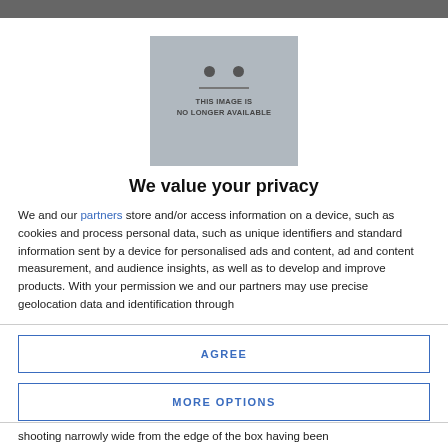[Figure (other): Placeholder image with two dots (eyes), a horizontal line (mouth), and the text 'THIS IMAGE IS NO LONGER AVAILABLE' on a grey background.]
We value your privacy
We and our partners store and/or access information on a device, such as cookies and process personal data, such as unique identifiers and standard information sent by a device for personalised ads and content, ad and content measurement, and audience insights, as well as to develop and improve products. With your permission we and our partners may use precise geolocation data and identification through
AGREE
MORE OPTIONS
shooting narrowly wide from the edge of the box having been